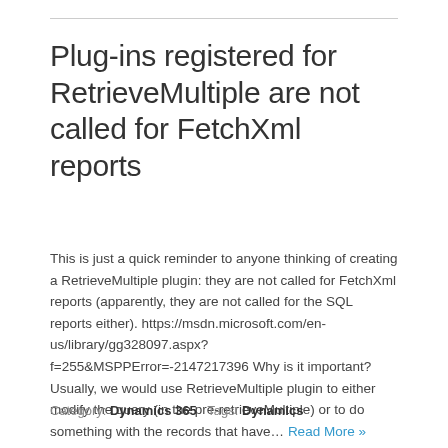Plug-ins registered for RetrieveMultiple are not called for FetchXml reports
This is just a quick reminder to anyone thinking of creating a RetrieveMultiple plugin: they are not called for FetchXml reports (apparently, they are not called for the SQL reports either). https://msdn.microsoft.com/en-us/library/gg328097.aspx?f=255&MSPPError=-2147217396 Why is it important? Usually, we would use RetrieveMultiple plugin to either modify the query (in the pre-retrieveMultiple) or to do something with the records that have… Read More »
Category: Dynamics 365 Tags: Dynamics